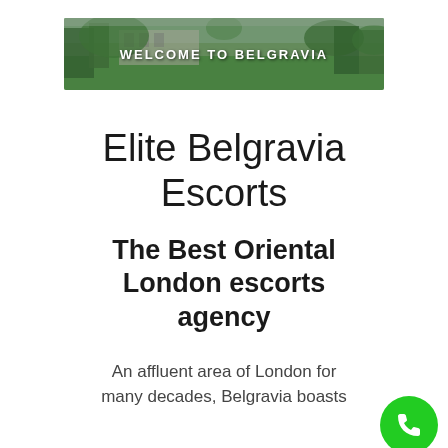[Figure (photo): Banner image of a park/garden with green lawn and trees, overlaid with white bold text 'WELCOME TO BELGRAVIA']
Elite Belgravia Escorts
The Best Oriental London escorts agency
An affluent area of London for many decades, Belgravia boasts
[Figure (illustration): Green circular call/phone button in bottom right corner]